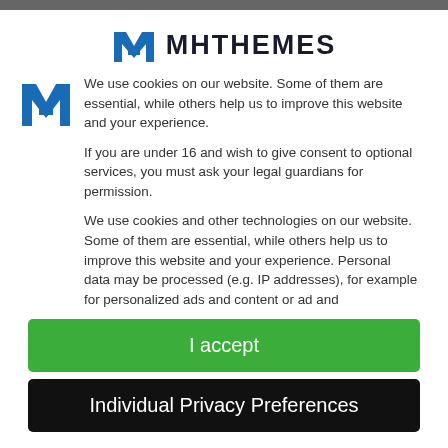[Figure (logo): MHThemes logo with blue M icon and dark MHTHEMES text]
We use cookies on our website. Some of them are essential, while others help us to improve this website and your experience.
If you are under 16 and wish to give consent to optional services, you must ask your legal guardians for permission.
We use cookies and other technologies on our website. Some of them are essential, while others help us to improve this website and your experience. Personal data may be processed (e.g. IP addresses), for example for personalized ads and content or ad and
I accept
Individual Privacy Preferences